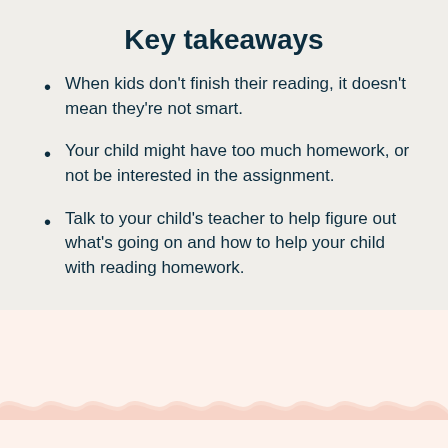Key takeaways
When kids don't finish their reading, it doesn't mean they're not smart.
Your child might have too much homework, or not be interested in the assignment.
Talk to your child's teacher to help figure out what's going on and how to help your child with reading homework.